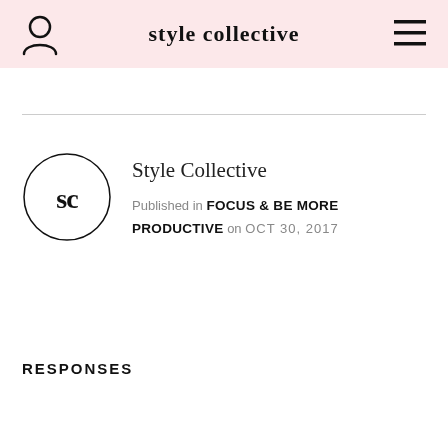style collective
[Figure (logo): SC monogram inside a circle — Style Collective logo]
Style Collective
Published in FOCUS & BE MORE PRODUCTIVE on OCT 30, 2017
RESPONSES